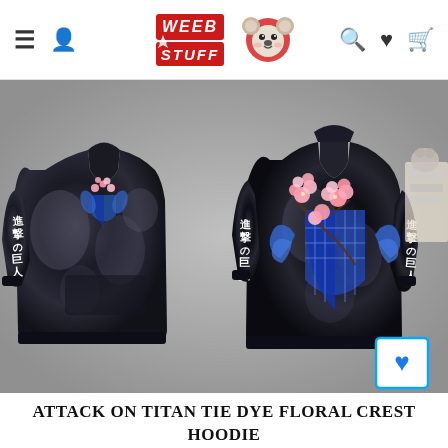Weeb Stuff [logo with koala mascot] — navigation header with hamburger menu, user icon, search, wishlist, cart icons
[Figure (photo): Attack on Titan Tie Dye Floral Crest Hoodie product photo showing front and back views of a black tie-dye hoodie with Japanese kanji text on sleeves and Survey Corps crest with cherry blossoms embroidery. A wishlist heart button is shown in bottom right corner.]
Attack On Titan Tie Dye Floral Crest Hoodie